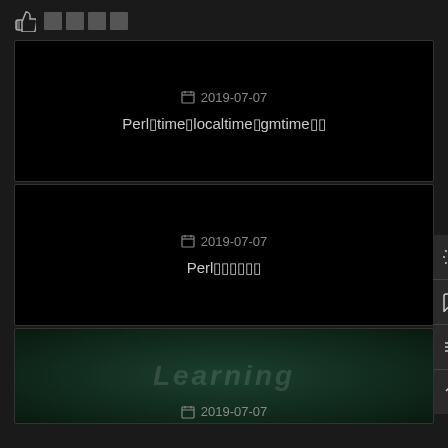👍 □□□□
[Figure (screenshot): Black card with date 2019-07-07 and title about Perl time/localtime/gmtime functions]
[Figure (screenshot): Black card with date 2019-07-07 and title about Perl]
[Figure (screenshot): Partial card showing learning background image with date 2019-07-07]